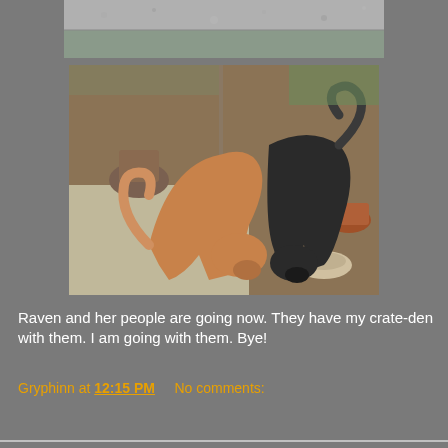[Figure (photo): Top cropped photo strip showing pavement/ground, partially visible]
[Figure (photo): Two dogs outdoors on a patio/concrete area with plant pots and soil around them. One dog is tan/brown, the other is black, both appear to be sniffing or greeting each other.]
Raven and her people are going now. They have my crate-den with them. I am going with them. Bye!
Gryphinn at 12:15 PM   No comments:
Share